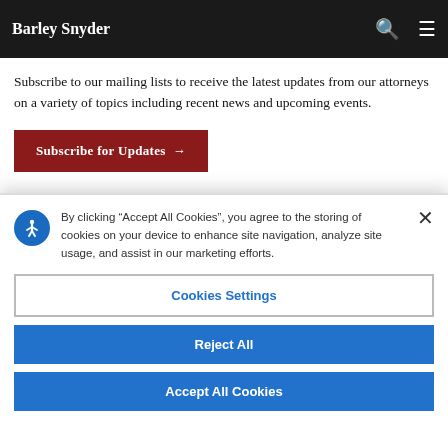Barley Snyder
Get Email Updates
Subscribe to our mailing lists to receive the latest updates from our attorneys on a variety of topics including recent news and upcoming events.
Subscribe for Updates →
By clicking "Accept All Cookies", you agree to the storing of cookies on your device to enhance site navigation, analyze site usage, and assist in our marketing efforts.
Cookies Settings
Reject All
Accept All Cookies